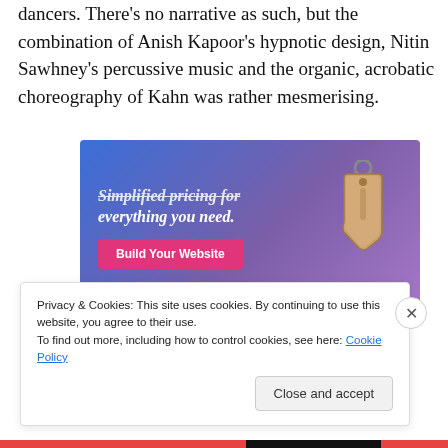dancers. There’s no narrative as such, but the combination of Anish Kapoor’s hypnotic design, Nitin Sawhney’s percussive music and the organic, acrobatic choreography of Kahn was rather mesmerising.
[Figure (screenshot): Advertisement banner with blue-to-purple gradient background, text 'Simplified pricing for everything you need.' in white italic font, a pink 'Build Your Website' button, and a 3D price tag graphic on the right.]
Privacy & Cookies: This site uses cookies. By continuing to use this website, you agree to their use.
To find out more, including how to control cookies, see here: Cookie Policy
Close and accept